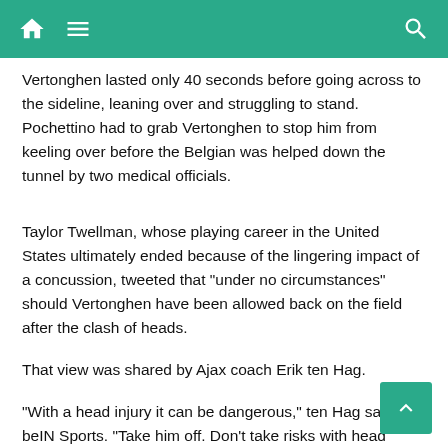[Navigation bar with home, menu, and search icons]
Vertonghen lasted only 40 seconds before going across to the sideline, leaning over and struggling to stand. Pochettino had to grab Vertonghen to stop him from keeling over before the Belgian was helped down the tunnel by two medical officials.
Taylor Twellman, whose playing career in the United States ultimately ended because of the lingering impact of a concussion, tweeted that "under no circumstances" should Vertonghen have been allowed back on the field after the clash of heads.
That view was shared by Ajax coach Erik ten Hag.
"With a head injury it can be dangerous," ten Hag said on beIN Sports. "Take him off. Don't take risks with head injuries."